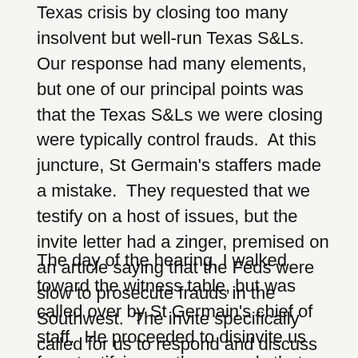Texas crisis by closing too many insolvent but well-run Texas S&Ls.  Our response had many elements, but one of our principal points was that the Texas S&Ls we were closing were typically control frauds.  At this juncture, St Germain's staffers made a mistake.  They requested that we testify on a host of issues, but the invite letter had a zinger, premised on an article saying that the Feds were slow to prosecute frauds in the Southwest.  The invite specifically called for us to respond and discuss the role of fraud in the Southwest.  We used the opportunity to explain the extensive role of fraud in Texas S&L failures.
The day of the hearing, I walked toward the witness table, but was called over by St Germain's chief of staff.  He proceeded to disinvite us from testifying on the grounds that we had filed non-responsive testimony.  (We had, of course, responded to every inquiry they made.  They simply hated the response because we